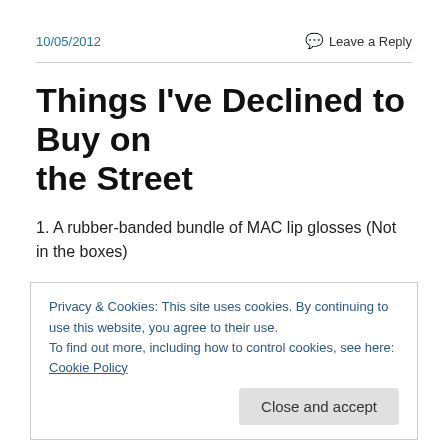10/05/2012
Leave a Reply
Things I've Declined to Buy on the Street
1. A rubber-banded bundle of MAC lip glosses (Not in the boxes)
2. A reduced-fare Breeze card
Privacy & Cookies: This site uses cookies. By continuing to use this website, you agree to their use.
To find out more, including how to control cookies, see here: Cookie Policy